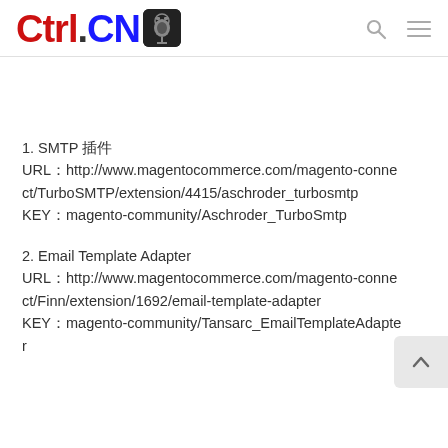Ctrol.CN
1. SMTP 插件
URL：http://www.magentocommerce.com/magento-connect/TurboSMTP/extension/4415/aschroder_turbosmtp
KEY：magento-community/Aschroder_TurboSmtp
2. Email Template Adapter
URL：http://www.magentocommerce.com/magento-connect/Finn/extension/1692/email-template-adapter
KEY：magento-community/Tansarc_EmailTemplateAdapter